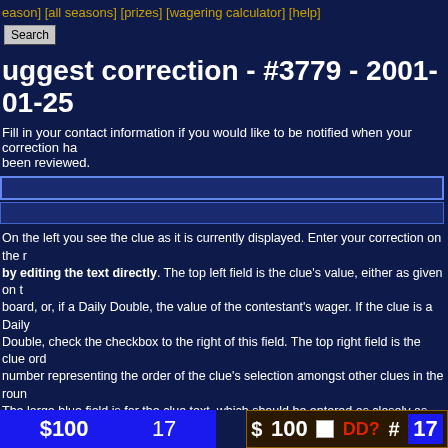[season] [all seasons] [prizes] [wagering calculator] [help]
Search
uggest correction - #3779 - 2001-01-25
Fill in your contact information if you would like to be notified when your correction has been reviewed.
On the left you see the clue as it is currently displayed. Enter your correction on the right by editing the text directly. The top left field is the clue's value, either as given on the board, or, if a Daily Double, the value of the contestant's wager. If the clue is a Daily Double, check the checkbox to the right of this field. The top right field is the clue order number representing the order of the clue's selection amongst other clues in the round. The large blue field is for the clue text, which should be entered as closely as possible how it appears on the show, with the exception that the words should not be all caps. Links to media clue files should be entered with HTML-style hyperlinks. Next come the nicknames of the three contestants in the form of response toggles: single clicks on the name change its color from white (no response) to green (correct response) to red (incorrect response) and back. Below this should be typed the correct response (only the most essential part--it should not be entered in the form of a question). The bottom field on the right is the clue comments field, where dialog (including incorrect responses) can be entered. (Note that the correct response should never be typed in the comments field; rather, it should be denoted by [*].)
| $100 | 17 |  | $100 | DD? | # | 17 |